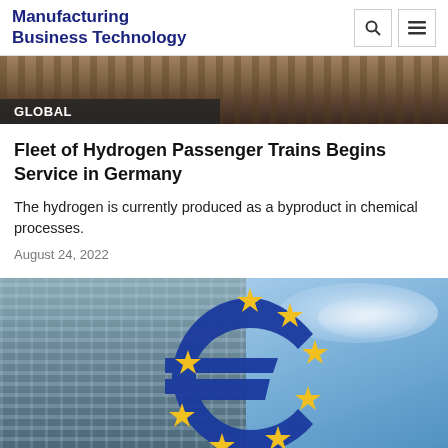Manufacturing Business Technology
[Figure (photo): Train on railroad tracks viewed from above, partial image strip at top of page]
GLOBAL
Fleet of Hydrogen Passenger Trains Begins Service in Germany
The hydrogen is currently produced as a byproduct in chemical processes.
August 24, 2022
[Figure (photo): Large blue Euro sign sculpture with yellow stars in front of glass skyscraper buildings under blue sky with clouds]